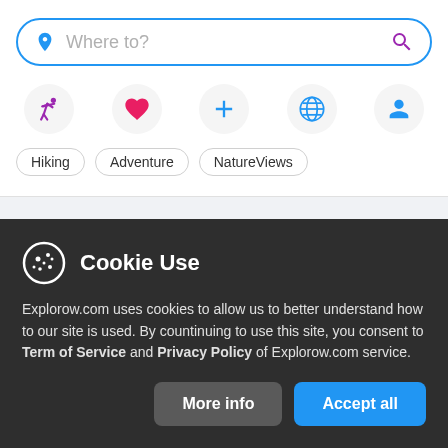[Figure (screenshot): Search bar with location pin icon on the left and purple search magnifier on right, showing placeholder text 'Where to?', enclosed in a blue rounded border]
[Figure (infographic): Row of five circular icon buttons: purple running figure (Hiking), pink heart (Adventure/Favorites), blue plus (Add), blue globe (World), blue person (Profile)]
Hiking
Adventure
NatureViews
Cookie Use
Explorow.com uses cookies to allow us to better understand how to our site is used. By countinuing to use this site, you consent to Term of Service and Privacy Policy of Explorow.com service.
More info
Accept all